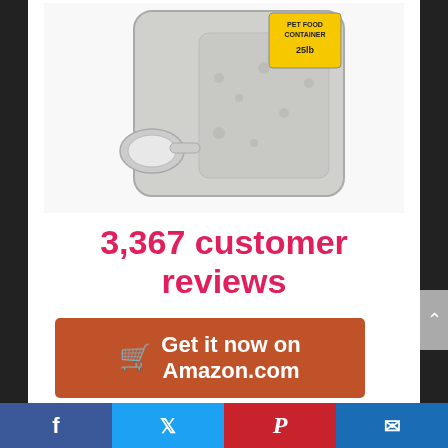[Figure (photo): A silvery/gray pet food container with a screw-on measuring cup attached to the side, with a yellow label reading 'PET FOOD CONTAINER 25lb' at the top right, and paw print embossing on the body.]
3,367 customer reviews
🛒 Get it now on Amazon.com
Product Highlights
[Figure (other): Social media share bar at bottom with Facebook, Twitter, Pinterest, and email icons]